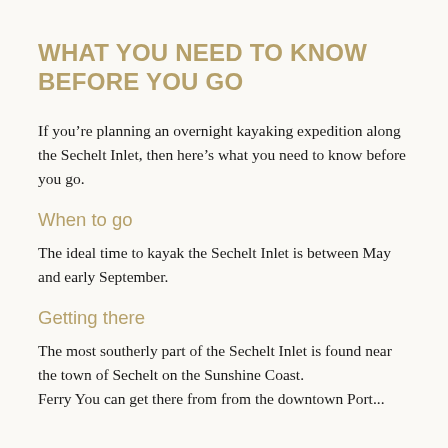WHAT YOU NEED TO KNOW BEFORE YOU GO
If you’re planning an overnight kayaking expedition along the Sechelt Inlet, then here’s what you need to know before you go.
When to go
The ideal time to kayak the Sechelt Inlet is between May and early September.
Getting there
The most southerly part of the Sechelt Inlet is found near the town of Sechelt on the Sunshine Coast. Ferry You can get there from from the downtown Port...